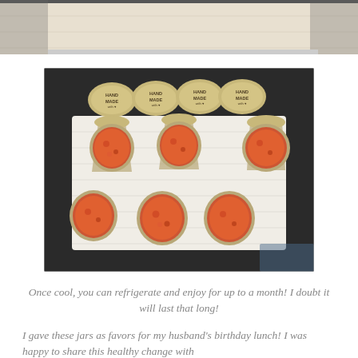[Figure (photo): Partial photo at top of page showing a white textured fabric/cloth background, cropped]
[Figure (photo): Six small open glass jars filled with orange-red jam/preserve arranged on a white cloth/towel. Six round tan lids with 'Handmade with Love' text are arranged at the top behind the jars, on a dark background.]
Once cool, you can refrigerate and enjoy for up to a month! I doubt it will last that long!
I gave these jars as favors for my husband's birthday lunch! I was happy to share this healthy change with